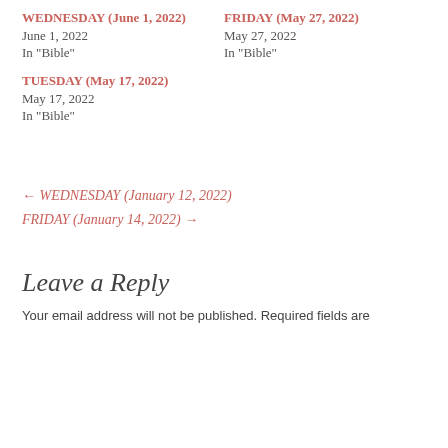WEDNESDAY (June 1, 2022)
June 1, 2022
In "Bible"
FRIDAY (May 27, 2022)
May 27, 2022
In "Bible"
TUESDAY (May 17, 2022)
May 17, 2022
In "Bible"
← WEDNESDAY (January 12, 2022)
FRIDAY (January 14, 2022) →
Leave a Reply
Your email address will not be published. Required fields are